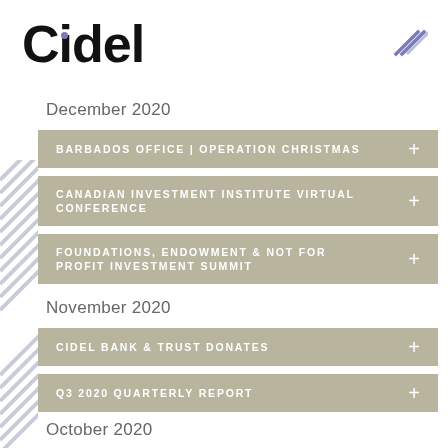Cidel
December 2020
BARBADOS OFFICE | OPERATION CHRISTMAS
CANADIAN INVESTMENT INSTITUTE VIRTUAL CONFERENCE
FOUNDATIONS, ENDOWMENT & NOT FOR PROFIT INVESTMENT SUMMIT
November 2020
CIDEL BANK & TRUST DONATES
Q3 2020 QUARTERLY REPORT
October 2020
CIDEL WINS DIGITAL INNOVATOR OF THE YEAR